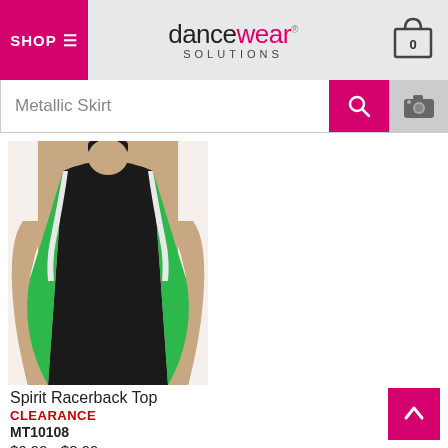[Figure (screenshot): Dancewear Solutions website header with SHOP menu button in pink, logo, and shopping cart icon showing 0 items]
[Figure (screenshot): Search bar with text 'Metallic Skirt', pink search button with magnifying glass icon, and camera search button]
[Figure (photo): Product photo of a woman wearing a black Spirit Racerback Top with green and white accent stripes on the sides]
Spirit Racerback Top
CLEARANCE
MT10108
$6.99 - $8.99
[Figure (other): 4 out of 5 star rating with 4 filled stars and 1 half star]
[Figure (other): 4 color swatches: purple, green, red/maroon, blue]